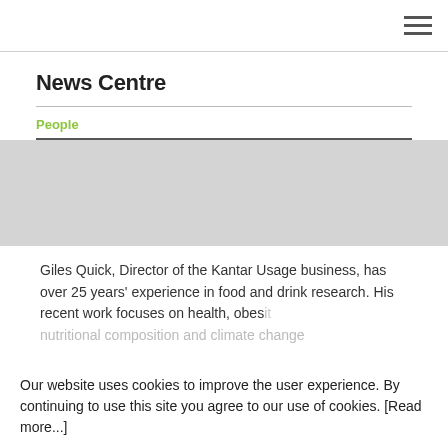≡ (hamburger menu icon)
News Centre
People
[Figure (photo): Grey placeholder image representing a person photo, approximately full width and 106px tall]
Giles Quick, Director of the Kantar Usage business, has over 25 years' experience in food and drink research. His recent work focuses on health, obesity, nutritional composition and climate change
Our website uses cookies to improve the user experience. By continuing to use this site you agree to our use of cookies. [Read more...]